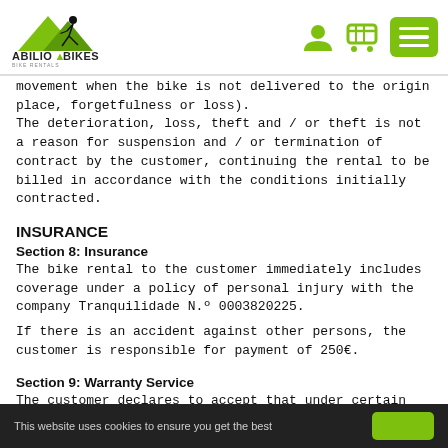[Figure (logo): Abilio Bikes logo with user icon, cart icon, and green hamburger menu button in header]
movement when the bike is not delivered to the origin place, forgetfulness or loss). The deterioration, loss, theft and / or theft is not a reason for suspension and / or termination of contract by the customer, continuing the rental to be billed in accordance with the conditions initially contracted.
INSURANCE
Section 8: Insurance
The bike rental to the customer immediately includes coverage under a policy of personal injury with the company Tranquilidade N.º 0003820225.
If there is an accident against other persons, the customer is responsible for payment of 250€.
Section 9: Warranty Service
The customer declares to accept that under certain
This website uses cookies to ensure you get the best